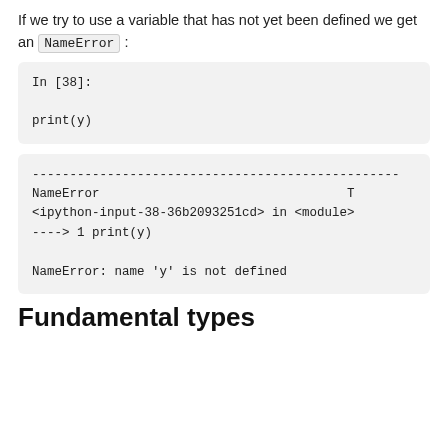If we try to use a variable that has not yet been defined we get an NameError :
[Figure (screenshot): Code input cell showing: In [38]: print(y)]
[Figure (screenshot): Code output cell showing NameError traceback: NameError, <ipython-input-38-36b2093251cd> in <module>, ----> 1 print(y), NameError: name 'y' is not defined]
Fundamental types